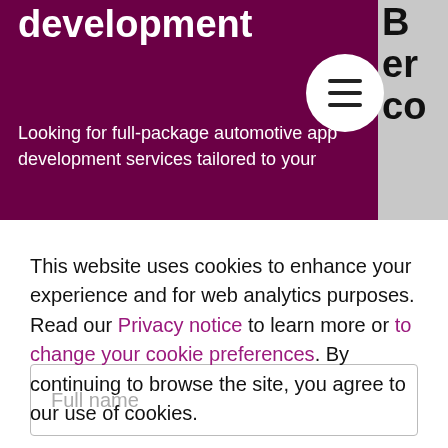development
Looking for full-package automotive app development services tailored to your
This website uses cookies to enhance your experience and for web analytics purposes. Read our Privacy notice to learn more or to change your cookie preferences. By continuing to browse the site, you agree to our use of cookies.
I agree
Full name